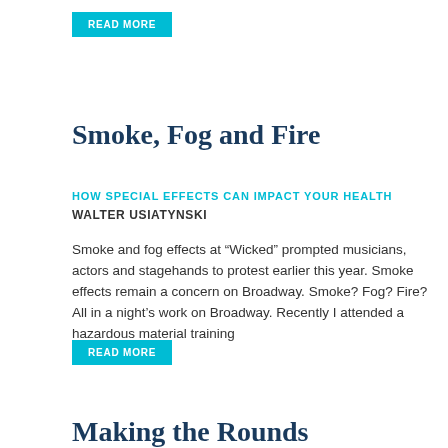READ MORE
Smoke, Fog and Fire
HOW SPECIAL EFFECTS CAN IMPACT YOUR HEALTH
WALTER USIATYNSKI
Smoke and fog effects at “Wicked” prompted musicians, actors and stagehands to protest earlier this year. Smoke effects remain a concern on Broadway. Smoke? Fog? Fire? All in a night’s work on Broadway. Recently I attended a hazardous material training
READ MORE
Making the Rounds